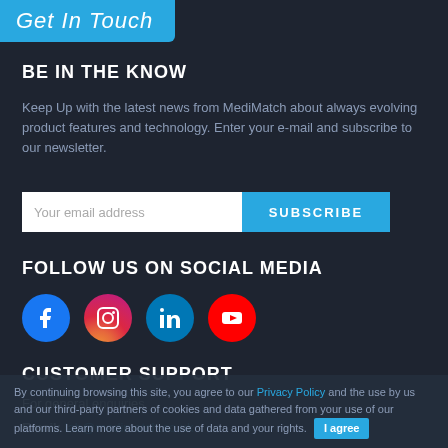Get In Touch
BE IN THE KNOW
Keep Up with the latest news from MediMatch about always evolving product features and technology. Enter your e-mail and subscribe to our newsletter.
[Figure (infographic): Email subscription form with text input 'Your email address' and a blue SUBSCRIBE button]
FOLLOW US ON SOCIAL MEDIA
[Figure (infographic): Social media icons: Facebook (blue), Instagram (pink/red gradient), LinkedIn (blue), YouTube (red)]
CUSTOMER SUPPORT
For general enquiries
Email: lab@medimatch.co.uk
By continuing browsing this site, you agree to our Privacy Policy and the use by us and our third-party partners of cookies and data gathered from your use of our platforms. Learn more about the use of data and your rights.
I agree